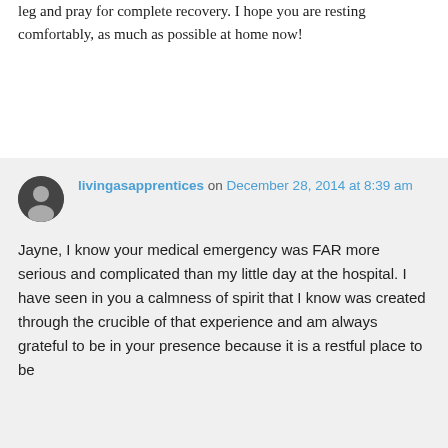leg and pray for complete recovery. I hope you are resting comfortably, as much as possible at home now!
livingasapprentices on December 28, 2014 at 8:39 am
Jayne, I know your medical emergency was FAR more serious and complicated than my little day at the hospital. I have seen in you a calmness of spirit that I know was created through the crucible of that experience and am always grateful to be in your presence because it is a restful place to be